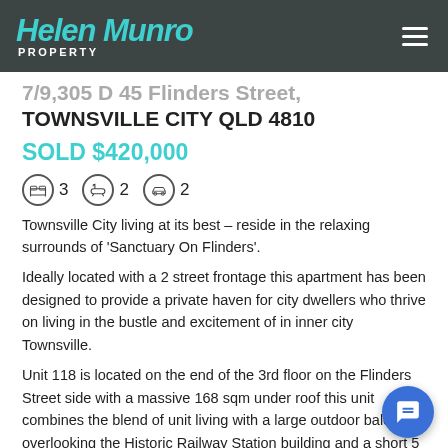Helen Munro PROPERTY
7/9,305 D 45 Flinders Street, TOWNSVILLE CITY QLD 4810
SOLD $420,000
3 bedrooms, 2 bathrooms, 2 car spaces
Townsville City living at its best – reside in the relaxing surrounds of 'Sanctuary On Flinders'.
Ideally located with a 2 street frontage this apartment has been designed to provide a private haven for city dwellers who thrive on living in the bustle and excitement of in inner city Townsville.
Unit 118 is located on the end of the 3rd floor on the Flinders Street side with a massive 168 sqm under roof this unit combines the blend of unit living with a large outdoor balcony overlooking the Historic Railway Station building and a short 5 minute walk to Queensland Country Bank Stadium.